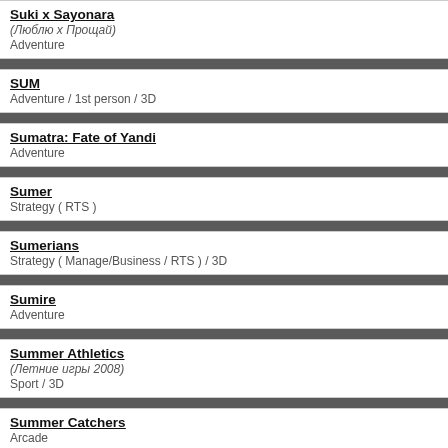Suki x Sayonara
(Люблю х Прощай)
Adventure
SUM
Adventure / 1st person / 3D
Sumatra: Fate of Yandi
Adventure
Sumer
Strategy ( RTS )
Sumerians
Strategy ( Manage/Business / RTS ) / 3D
Sumire
Adventure
Summer Athletics
(Летние игры 2008)
Sport / 3D
Summer Catchers
Arcade
Summer Funland
Adventure / 1st person / 3D
Summer in Mara